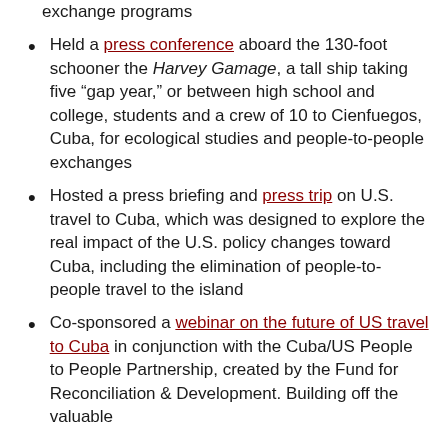exchange programs
Held a press conference aboard the 130-foot schooner the Harvey Gamage, a tall ship taking five “gap year,” or between high school and college, students and a crew of 10 to Cienfuegos, Cuba, for ecological studies and people-to-people exchanges
Hosted a press briefing and press trip on U.S. travel to Cuba, which was designed to explore the real impact of the U.S. policy changes toward Cuba, including the elimination of people-to-people travel to the island
Co-sponsored a webinar on the future of US travel to Cuba in conjunction with the Cuba/US People to People Partnership, created by the Fund for Reconciliation & Development. Building off the valuable